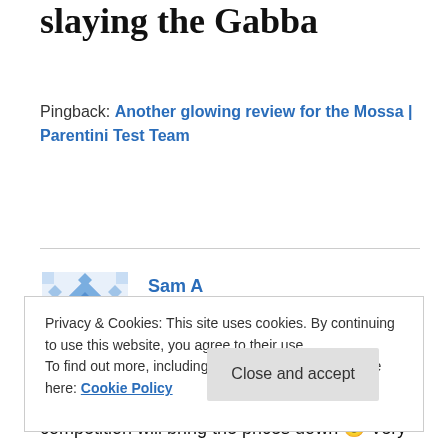slaying the Gabba
Pingback: Another glowing review for the Mossa | Parentini Test Team
Sam A
JANUARY 4, 2016 AT 1:01 PM
Good to know there is an alternative, competition will bring the prices down 🙂 Very happy with the Gabba,
Privacy & Cookies: This site uses cookies. By continuing to use this website, you agree to their use.
To find out more, including how to control cookies, see here: Cookie Policy